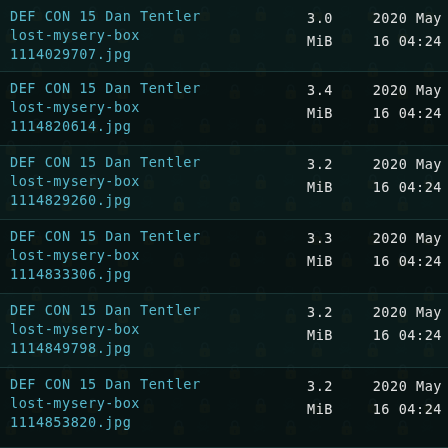DEF CON 15 Dan Tentler lost-mysery-box 1114029707.jpg  3.0 MiB  2020 May 16 04:24
DEF CON 15 Dan Tentler lost-mysery-box 1114820614.jpg  3.4 MiB  2020 May 16 04:24
DEF CON 15 Dan Tentler lost-mysery-box 1114829260.jpg  3.2 MiB  2020 May 16 04:24
DEF CON 15 Dan Tentler lost-mysery-box 1114833306.jpg  3.3 MiB  2020 May 16 04:24
DEF CON 15 Dan Tentler lost-mysery-box 1114849798.jpg  3.2 MiB  2020 May 16 04:24
DEF CON 15 Dan Tentler lost-mysery-box 1114853820.jpg  3.2 MiB  2020 May 16 04:24